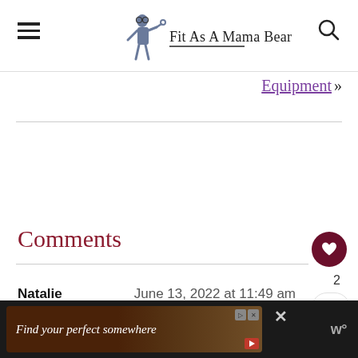Fit As A Mama Bear
Equipment »
Comments
Natalie   June 13, 2022 at 11:49 am
[Figure (screenshot): Advertisement banner: 'Find your perfect somewhere' with dark background image]
Find your perfect somewhere